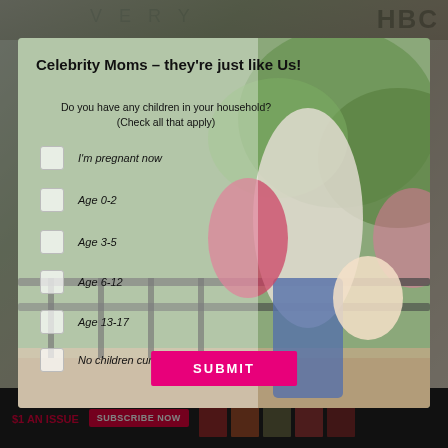Celebrity Moms – they're just like Us!
Do you have any children in your household? (Check all that apply)
I'm pregnant now
Age 0-2
Age 3-5
Age 6-12
Age 13-17
No children currently living with me
[Figure (photo): Woman holding two children outdoors on a porch/balcony with greenery in the background]
SUBMIT